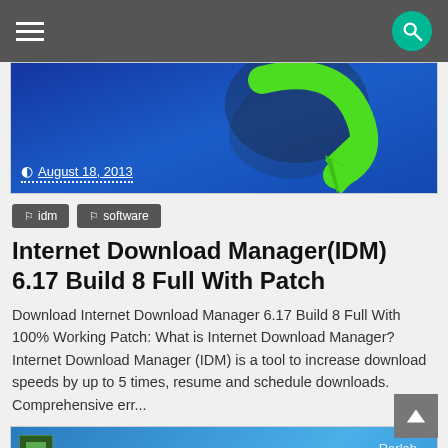Navigation bar with hamburger menu and search button
[Figure (screenshot): IDM (Internet Download Manager) blue banner image with green arrow logo and date overlay showing August 18, 2013]
August 18, 2013
idm
software
Internet Download Manager(IDM) 6.17 Build 8 Full With Patch
Download Internet Download Manager 6.17 Build 8 Full With 100% Working Patch: What is Internet Download Manager? Internet Download Manager (IDM) is a tool to increase download speeds by up to 5 times, resume and schedule downloads. Comprehensive err...
[Figure (photo): WinRAR software box art showing stacked books with Rarlab branding on blue background]